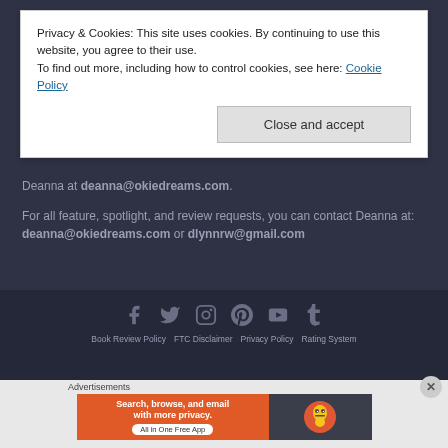Privacy & Cookies: This site uses cookies. By continuing to use this website, you agree to their use. To find out more, including how to control cookies, see here: Cookie Policy
Close and accept
Deanna at deanna@okiedreams.com.
For all feature, spotlight, and review requests, you can contact Deanna at: deanna@okiedreams.com or dlynnrw@gmail.com
Book Review Policy   FTC Disclaimer   Privacy Policy   Rating System
Advertisements
[Figure (screenshot): DuckDuckGo advertisement banner: 'Search, browse, and email with more privacy. All in One Free App' on orange background with DuckDuckGo logo on dark background]